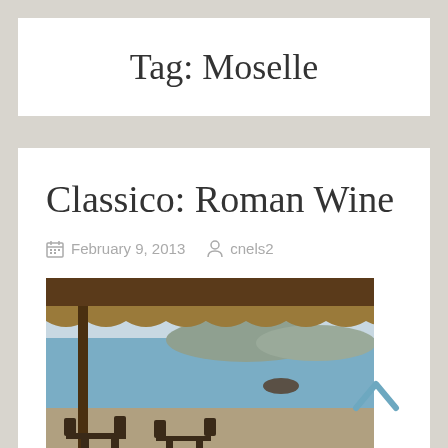Tag: Moselle
Classico: Roman Wine
February 9, 2013   cnels2
[Figure (photo): A seaside restaurant or terrace view showing a thatched/rustic overhead structure, blue sea water with a rocky outcrop, hills in the background, and wooden chairs and tables in the foreground.]